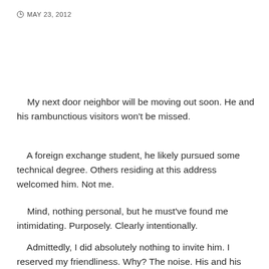MAY 23, 2012
My next door neighbor will be moving out soon. He and his rambunctious visitors won't be missed.
A foreign exchange student, he likely pursued some technical degree. Others residing at this address welcomed him. Not me.
Mind, nothing personal, but he must've found me intimidating. Purposely. Clearly intentionally.
Admittedly, I did absolutely nothing to invite him. I reserved my friendliness. Why? The noise. His and his friends' lack of consideration. Despite his alien culture, he should've arrived